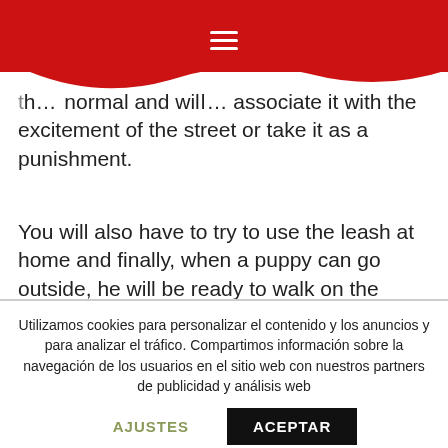≡
normal and will associate it with the excitement of the street or take it as a punishment.
You will also have to try to use the leash at home and finally, when a puppy can go outside, he will be ready to walk on the leash without pulling.
If using the leash and harness gets
Utilizamos cookies para personalizar el contenido y los anuncios y para analizar el tráfico. Compartimos información sobre la navegación de los usuarios en el sitio web con nuestros partners de publicidad y análisis web
AJUSTES   ACEPTAR